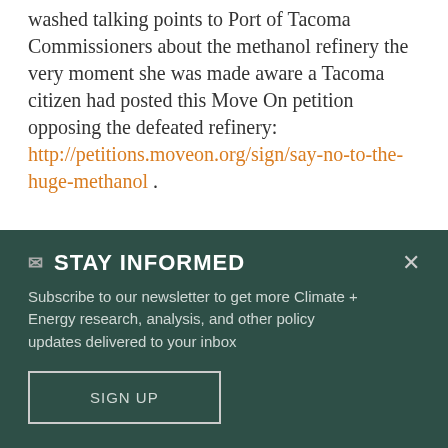washed talking points to Port of Tacoma Commissioners about the methanol refinery the very moment she was made aware a Tacoma citizen had posted this Move On petition opposing the defeated refinery: http://petitions.moveon.org/sign/say-no-to-the-huge-methanol .
They absolutely must be called out for their duplicity & conflicts of interest! I would submit they are the number one main
STAY INFORMED
Subscribe to our newsletter to get more Climate + Energy research, analysis, and other policy updates delivered to your inbox
SIGN UP